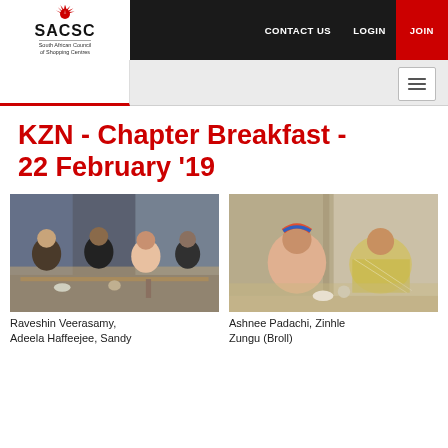CONTACT US  LOGIN  JOIN
[Figure (logo): SACSC South African Council of Shopping Centres logo with red sunburst graphic]
KZN - Chapter Breakfast - 22 February '19
[Figure (photo): Group of people seated at a table during a breakfast event, including Raveshin Veerasamy, Adeela Haffeejee, Sandy]
Raveshin Veerasamy, Adeela Haffeejee, Sandy
[Figure (photo): Two women smiling and seated at a table during a breakfast event: Ashnee Padachi, Zinhle Zungu (Broll)]
Ashnee Padachi, Zinhle Zungu (Broll)